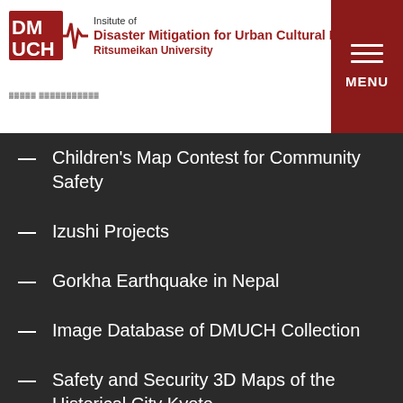[Figure (logo): DMUCH logo with red DM/UCH lettering and heartbeat line graphic]
Insitute of Disaster Mitigation for Urban Cultural Heritage, Ritsumeikan University
[Figure (other): Red menu button with three white horizontal lines and MENU label]
— Children's Map Contest for Community Safety
— Izushi Projects
— Gorkha Earthquake in Nepal
— Image Database of DMUCH Collection
— Safety and Security 3D Maps of the Historical City Kyoto
— Disaster-Responsive Vending Machines
— Emergency Medical Information Kits
— Great East Japan Earthquake Disaster